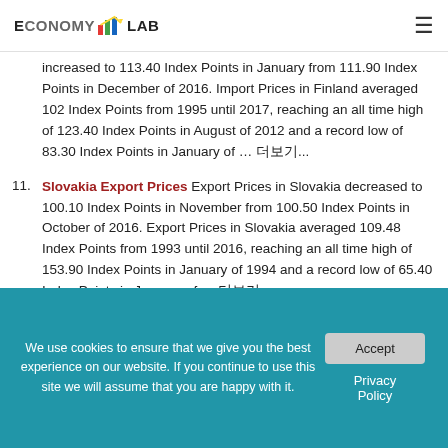ECONOMY LAB
increased to 113.40 Index Points in January from 111.90 Index Points in December of 2016. Import Prices in Finland averaged 102 Index Points from 1995 until 2017, reaching an all time high of 123.40 Index Points in August of 2012 and a record low of 83.30 Index Points in January of … 더보기...
11. Slovakia Export Prices Export Prices in Slovakia decreased to 100.10 Index Points in November from 100.50 Index Points in October of 2016. Export Prices in Slovakia averaged 109.48 Index Points from 1993 until 2016, reaching an all time high of 153.90 Index Points in January of 1994 and a record low of 65.40 Index Points in January of … 더보기...
We use cookies to ensure that we give you the best experience on our website. If you continue to use this site we will assume that you are happy with it.